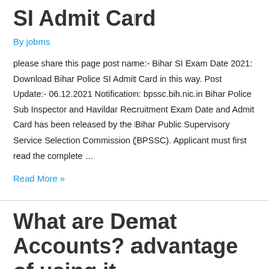SI Admit Card
By jobms
please share this page post name:- Bihar SI Exam Date 2021: Download Bihar Police SI Admit Card in this way. Post Update:- 06.12.2021 Notification: bpssc.bih.nic.in Bihar Police Sub Inspector and Havildar Recruitment Exam Date and Admit Card has been released by the Bihar Public Supervisory Service Selection Commission (BPSSC). Applicant must first read the complete …
Read More »
What are Demat Accounts? advantage of using it
By jobms
please share this page Demat Account Meaning in Hindi: What is